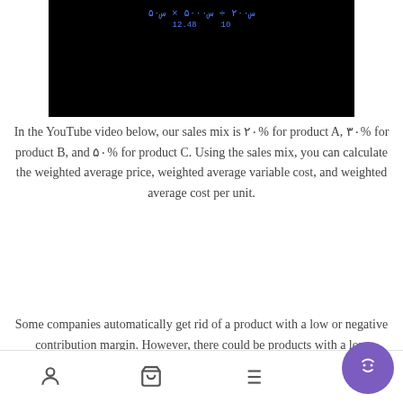[Figure (screenshot): Dark/black video thumbnail with blue text showing a math formula related to sales mix calculation]
In the YouTube video below, our sales mix is ۲۰% for product A, ۳۰% for product B, and ۵۰% for product C. Using the sales mix, you can calculate the weighted average price, weighted average variable cost, and weighted average cost per unit.
Some companies automatically get rid of a product with a low or negative contribution margin. However, there could be products with a low contribution margin that don't need a high level of support. A product line wit…
navigation icons: user, cart, list, search, chat